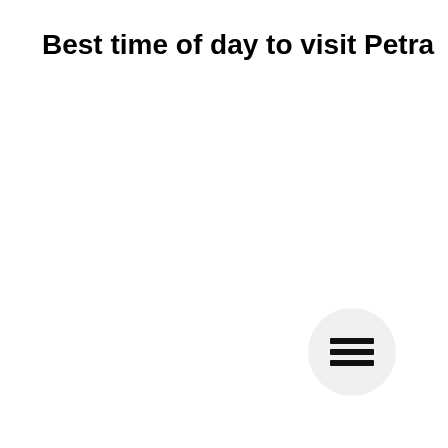Best time of day to visit Petra
[Figure (other): Hamburger menu button — a circular white button with three horizontal black lines (menu icon) in the lower-right area of the page]